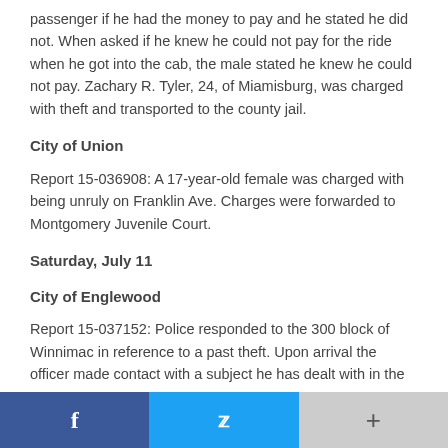passenger if he had the money to pay and he stated he did not. When asked if he knew he could not pay for the ride when he got into the cab, the male stated he knew he could not pay. Zachary R. Tyler, 24, of Miamisburg, was charged with theft and transported to the county jail.
City of Union
Report 15-036908: A 17-year-old female was charged with being unruly on Franklin Ave. Charges were forwarded to Montgomery Juvenile Court.
Saturday, July 11
City of Englewood
Report 15-037152: Police responded to the 300 block of Winnimac in reference to a past theft. Upon arrival the officer made contact with a subject he has dealt with in the past
f  [twitter]  +